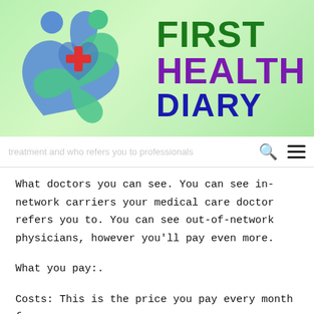[Figure (logo): First Health Diary logo: green gradient background with two figures forming a heart shape (blue and green) with a red cross in the center, and the text FIRST HEALTH DIARY in bold to the right]
treatment and who refers you to professionals
What doctors you can see. You can see in-network carriers your medical care doctor refers you to. You can see out-of-network physicians, however you'll pay even more.
What you pay:.
Costs: This is the price you pay every month for